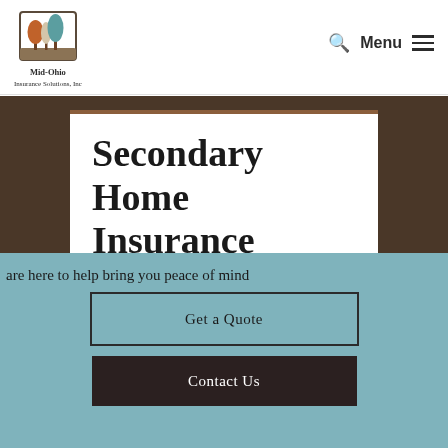[Figure (logo): Mid-Ohio Insurance Solutions, Inc. logo with illustrated trees (brown and teal) in a square frame]
Mid-Ohio Insurance Solutions, Inc.
Secondary Home Insurance
are here to help bring you peace of mind
Get a Quote
Contact Us